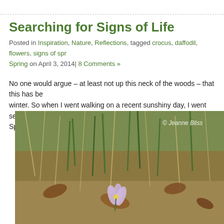Searching for Signs of Life
Posted in Inspiration, Nature, Reflections, tagged crocus, daffodil, flowers, signs of spring, Spring on April 3, 2014| 8 Comments »
No one would argue – at least not up this neck of the woods – that this has been a very long winter. So when I went walking on a recent sunshiny day, I went searching for some signs of Spring life! And here's a small sampling of what I found.
[Figure (photo): A small purple crocus flower blooming among dry grass, dead leaves, and green shoots on the ground. A watermark reads '© Jeanne Bliss' in the upper right corner.]